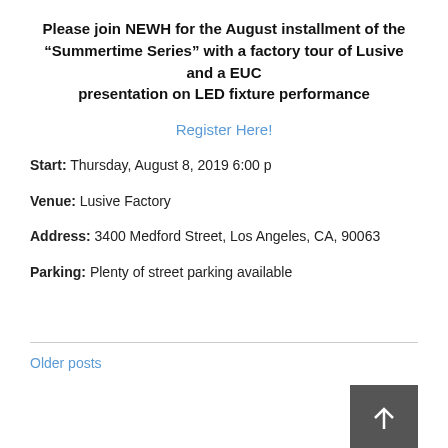Please join NEWH for the August installment of the “Summertime Series” with a factory tour of Lusive and a EUC presentation on LED fixture performance
Register Here!
Start: Thursday, August 8, 2019 6:00 p
Venue: Lusive Factory
Address: 3400 Medford Street, Los Angeles, CA, 90063
Parking: Plenty of street parking available
Older posts
Take the First Step